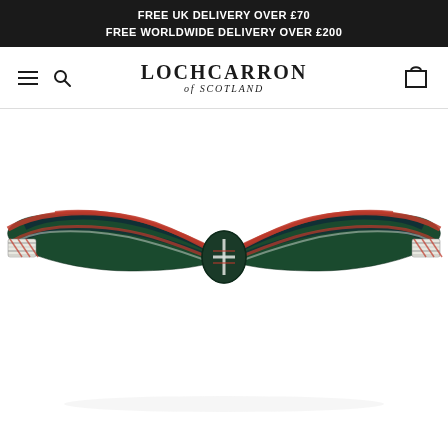FREE UK DELIVERY OVER £70
FREE WORLDWIDE DELIVERY OVER £200
LOCHCARRON of SCOTLAND
[Figure (photo): A tartan bow tie in dark green with red and white plaid pattern (Scottish tartan), shown flat against white background. The bow tie has a classic pre-tied shape with a central knot.]